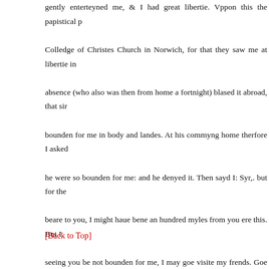gently enterteyned me, & I had great libertie. Vppon this the papistical p... Colledge of Christes Church in Norwich, for that they saw me at libertie in... absence (who also was then from home a fortnight) blased it abroad, that si... bounden for me in body and landes. At his commyng home therfore I asked... he were so bounden for me: and he denyed it. Then sayd I: Syr,. but for th... beare to you, I might haue bene an hundred myles from you ere this. But I... seeing you be not bounden for me, I may goe visite my frends. Goe where yo... William, for (quoth he) I tolde the Bishop I woulde not be his Gaylor, but pr... meate, drinke, and lodgyng for you. Shortly after, vppon the deuise of some f... closely conueyed to a frendes house, where almost a moneth I was secr... rumours were ouer. For at the Bishops returne, searchyng was for me, in so... houses where it was knowen I had bene acquainted, were searched, and t... Yarmouth.
[Back to Top]